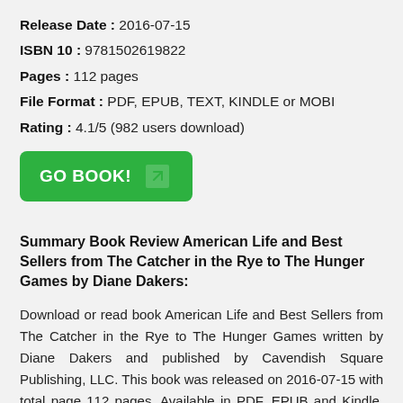Release Date : 2016-07-15
ISBN 10 : 9781502619822
Pages : 112 pages
File Format : PDF, EPUB, TEXT, KINDLE or MOBI
Rating : 4.1/5 (982 users download)
[Figure (other): Green GO BOOK! button with arrow icon]
Summary Book Review American Life and Best Sellers from The Catcher in the Rye to The Hunger Games by Diane Dakers:
Download or read book American Life and Best Sellers from The Catcher in the Rye to The Hunger Games written by Diane Dakers and published by Cavendish Square Publishing, LLC. This book was released on 2016-07-15 with total page 112 pages. Available in PDF, EPUB and Kindle. Book excerpt: A